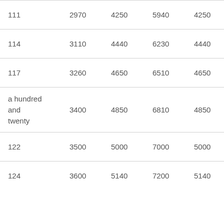| 111 | 2970 | 4250 | 5940 | 4250 | 5940 |
| 114 | 3110 | 4440 | 6230 | 4440 | 6230 |
| 117 | 3260 | 4650 | 6510 | 4650 | 6510 |
| a hundred and twenty | 3400 | 4850 | 6810 | 4850 | 6810 |
| 122 | 3500 | 5000 | 7000 | 5000 | 7000 |
| 124 | 3600 | 5140 | 7200 | 5140 | 7200 |